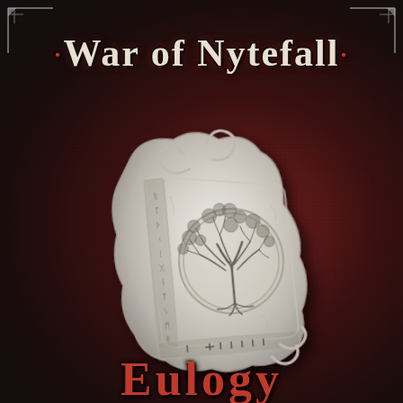· WAR OF NYTEFALL ·
[Figure (illustration): A stone tablet with decorative carved scrollwork at the top, runic inscriptions along the left border, and a circular medallion in the center depicting a tree of life. The tablet appears aged and three-dimensional, rendered in grayscale against a dark leather-textured background.]
EULOGY